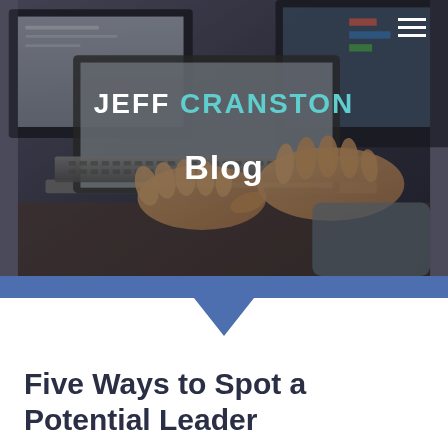[Figure (photo): Person typing on a laptop with monitors in the background, used as hero banner background image]
JEFF CRANSTON
Blog
Five Ways to Spot a Potential Leader